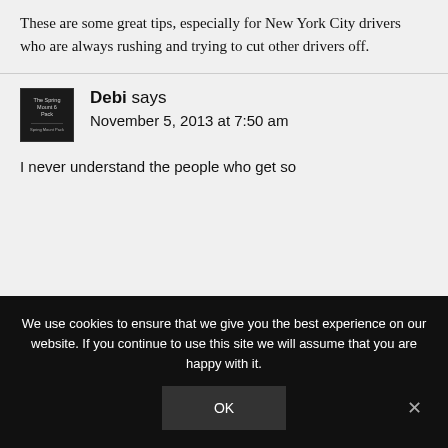These are some great tips, especially for New York City drivers who are always rushing and trying to cut other drivers off.
[Figure (photo): Avatar image for commenter Debi, showing a dark/black square with light text reading 'The Spring Mount 6 Pack' and additional small text]
Debi says
November 5, 2013 at 7:50 am
I never understand the people who get so
We use cookies to ensure that we give you the best experience on our website. If you continue to use this site we will assume that you are happy with it.
OK